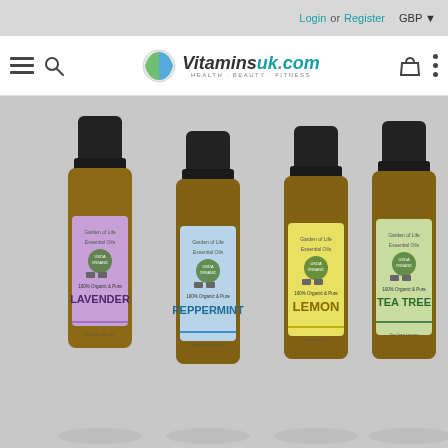Login or Register   GBP
[Figure (logo): Vitaminsuk.com logo with pill icon and tagline HEALTH · BEAUTY · FITNESS]
[Figure (photo): Four Garden of Life Essential Oils bottles: Lavender, Peppermint, Lemon, Tea Tree — 100% Organic & Pure]